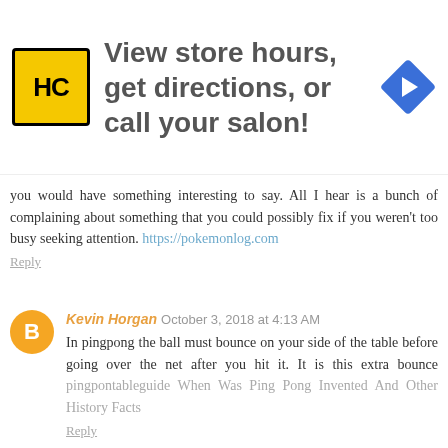[Figure (other): Advertisement banner with HC logo, text 'View store hours, get directions, or call your salon!' and a blue navigation arrow icon]
you would have something interesting to say. All I hear is a bunch of complaining about something that you could possibly fix if you weren't too busy seeking attention. https://pokemonlog.com
Reply
Kevin Horgan October 3, 2018 at 4:13 AM
In pingpong the ball must bounce on your side of the table before going over the net after you hit it. It is this extra bounce pingpontableguide When Was Ping Pong Invented And Other History Facts
Reply
Unknown October 16, 2018 at 2:34 AM
As you're creating the candy which are special, do not neglect the